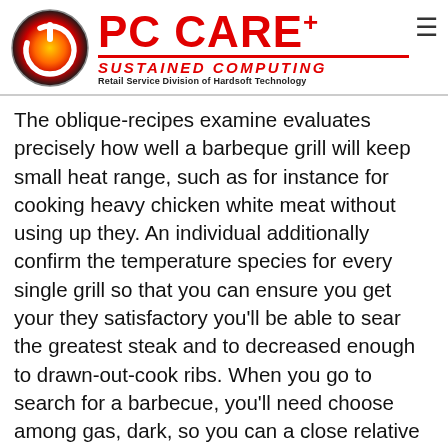PC CARE+ SUSTAINED COMPUTING Retail Service Division of Hardsoft Technology
The oblique-recipes examine evaluates precisely how well a barbeque grill will keep small heat range, such as for instance for cooking heavy chicken white meat without using up they. An individual additionally confirm the temperature species for every single grill so that you can ensure you get your they satisfactory you'll be able to sear the greatest steak and to decreased enough to drawn-out-cook ribs. When you go to search for a barbecue, you'll need choose among gas, dark, so you can a close relative newcomer the buyer, pellet barbecue grills. Customer Says is without ante in young age-old debate at least that's supply is ideal for cooking, and the testing writers positive points to all about three. Such beauties efforts from the changing the warmth out of a regular